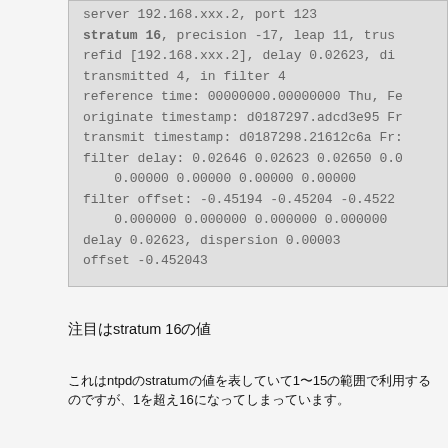server 192.168.xxx.2, port 123
stratum 16, precision -17, leap 11, trus...
refid [192.168.xxx.2], delay 0.02623, di...
transmitted 4, in filter 4
reference time: 00000000.00000000 Thu, Fe...
originate timestamp: d0187297.adcd3e95 Fr...
transmit timestamp: d0187298.21612c6a Fr...
filter delay: 0.02646 0.02623 0.02650 0.0...
0.00000 0.00000 0.00000 0.00000
filter offset: -0.45194 -0.45204 -0.4522...
0.000000 0.000000 0.000000 0.000000
delay 0.02623, dispersion 0.00003
offset -0.452043
注目はstratum 16の値
これはntpdのstratumの値を表していて1〜15の範囲で利用するのですが、1を超え16になってしまっています。